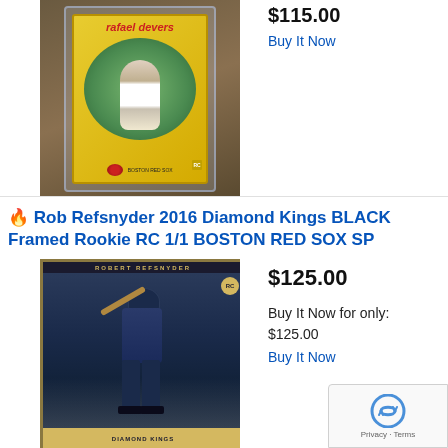[Figure (photo): Rafael Devers baseball card in a card holder, yellow vintage-style card on a wooden surface]
$115.00
Buy It Now
🔥 Rob Refsnyder 2016 Diamond Kings BLACK Framed Rookie RC 1/1 BOSTON RED SOX SP
[Figure (photo): Rob Refsnyder 2016 Diamond Kings Black Framed Rookie RC card showing batter in dark uniform]
$125.00
Buy It Now for only:
$125.00
Buy It Now
[Figure (other): reCAPTCHA privacy badge with recycle icon]